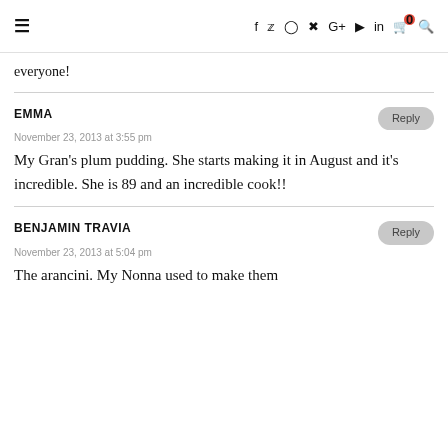≡ f t ⊙ P G+ ▶ in 🛒0 🔍
everyone!
EMMA
November 23, 2013 at 3:55 pm
My Gran's plum pudding. She starts making it in August and it's incredible. She is 89 and an incredible cook!!
BENJAMIN TRAVIA
November 23, 2013 at 5:04 pm
The arancini. My Nonna used to make them